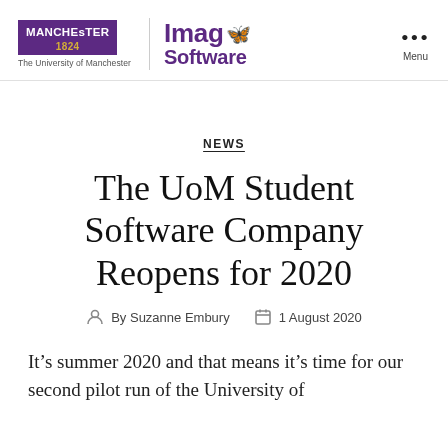[Figure (logo): Manchester 1824 University logo with purple badge and gold year text, plus Imago Software logo in purple]
NEWS
The UoM Student Software Company Reopens for 2020
By Suzanne Embury   1 August 2020
It’s summer 2020 and that means it’s time for our second pilot run of the University of